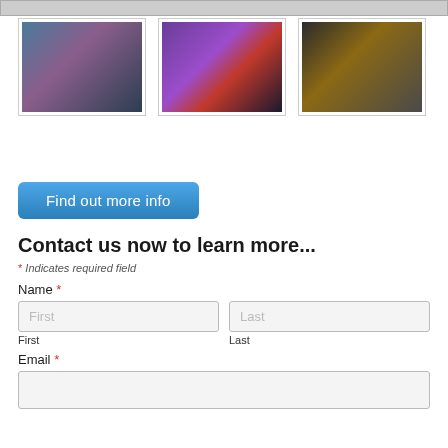[Figure (photo): Top strip showing partial images of a concert/event scene]
[Figure (photo): Photo of a young girl looking at a microphone at a concert, blue and purple tones]
[Figure (photo): Photo of someone holding a red smartphone filming a concert, purple lighting]
[Figure (photo): Photo of a boy with a guitar, dark background]
Find out more info
Contact us now to learn more...
* Indicates required field
Name *
First
Last
Email *